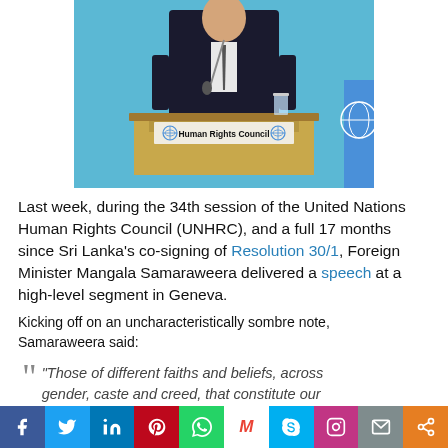[Figure (photo): A man in a dark suit speaks at a UN Human Rights Council podium in Geneva. The podium displays the Human Rights Council sign with UN logos on each side. Light blue UN backdrop visible.]
Last week, during the 34th session of the United Nations Human Rights Council (UNHRC), and a full 17 months since Sri Lanka's co-signing of Resolution 30/1, Foreign Minister Mangala Samaraweera delivered a speech at a high-level segment in Geneva.
Kicking off on an uncharacteristically sombre note, Samaraweera said:
“Those of different faiths and beliefs, across gender, caste and creed, that constitute our